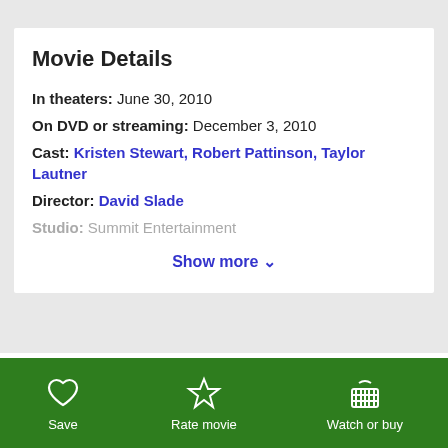Movie Details
In theaters: June 30, 2010
On DVD or streaming: December 3, 2010
Cast: Kristen Stewart, Robert Pattinson, Taylor Lautner
Director: David Slade
Studio: Summit Entertainment
Show more ∨
Our Editors Recommend
Save | Rate movie | Watch or buy